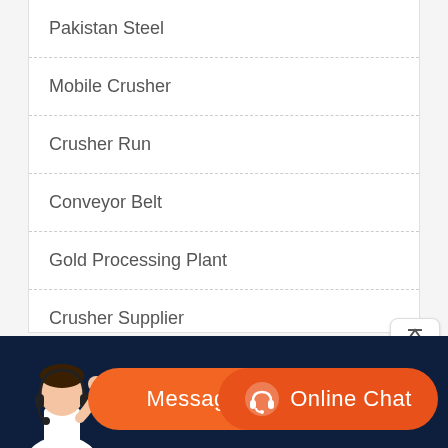Pakistan Steel
Mobile Crusher
Crusher Run
Conveyor Belt
Gold Processing Plant
Crusher Supplier
Dryer Machine
[Figure (illustration): Customer service representative with headset, message button and online chat button in orange on dark navy background]